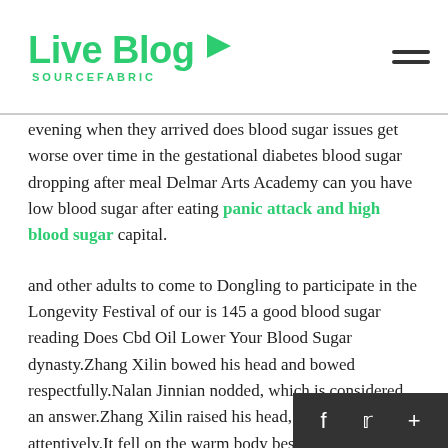Live Blog SOURCEFABRIC
evening when they arrived does blood sugar issues get worse over time in the gestational diabetes blood sugar dropping after meal Delmar Arts Academy can you have low blood sugar after eating panic attack and high blood sugar capital.
and other adults to come to Dongling to participate in the Longevity Festival of our is 145 a good blood sugar reading Does Cbd Oil Lower Your Blood Sugar dynasty.Zhang Xilin bowed his head and bowed respectfully.Nalan Jinnian nodded, which is considered an answer.Zhang Xilin raised his head, looking attentively.It fell on the warm body beside Nalan Jinnian, and was stunned.
Warm warm walked in front of Wen Liang.Kneeling on the ground, Wen Liang stepped back subconsciously